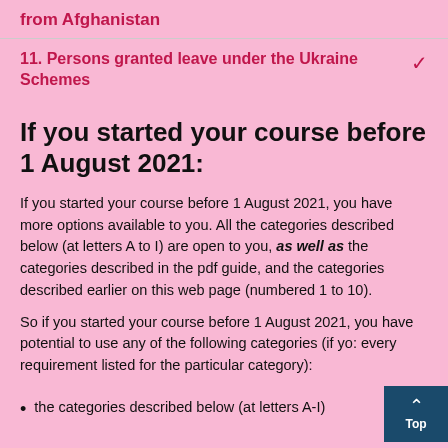from Afghanistan
11. Persons granted leave under the Ukraine Schemes
If you started your course before 1 August 2021:
If you started your course before 1 August 2021, you have more options available to you. All the categories described below (at letters A to I) are open to you, as well as the categories described in the pdf guide, and the categories described earlier on this web page (numbered 1 to 10).

So if you started your course before 1 August 2021, you have potential to use any of the following categories (if you meet every requirement listed for the particular category):
the categories described below (at letters A-I)